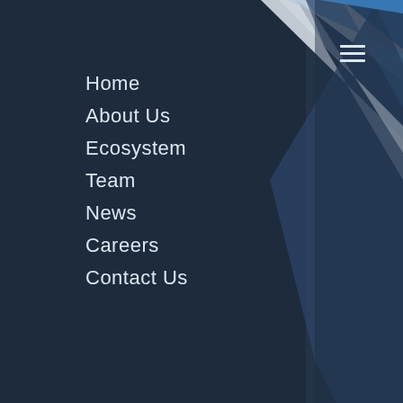[Figure (screenshot): Website navigation overlay on dark navy blue background with diagonal geometric shapes (blue and white parallelograms) visible in the upper right area, suggesting a tech company website hero image peek-through.]
Home
About Us
Ecosystem
Team
News
Careers
Contact Us